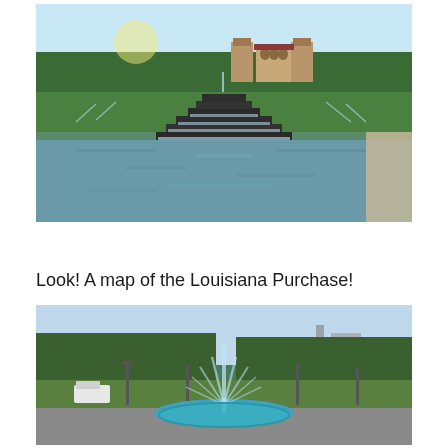[Figure (photo): Outdoor garden/park scene with a water feature showing cascading steps leading into a reflecting pool, green lawn, and a building with arches in the background under a blue sky.]
Look! A map of the Louisiana Purchase!
[Figure (photo): Outdoor park scene with a large fountain shooting water upward, surrounded by trees, lamp posts, and a roadway, under a partly cloudy sky.]